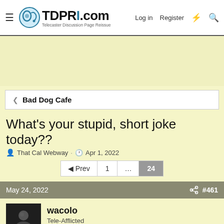TDPRI.com — Telecaster Discussion Page Reissue | Log in | Register
< Bad Dog Cafe
What's your stupid, short joke today??
That Cal Webway · Apr 1, 2022
Prev 1 ... 24
May 24, 2022  #461
wacolo
Tele-Afflicted
[Figure (photo): Partial image of a vinyl record or circular object, partially visible at bottom of page]